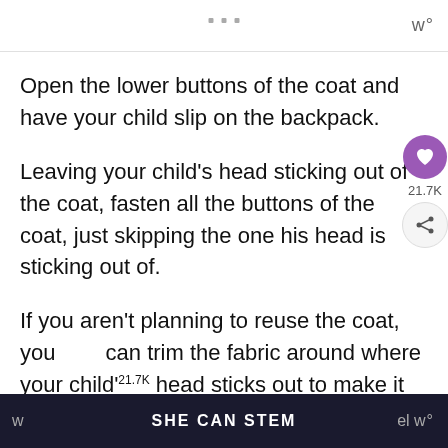w°
Open the lower buttons of the coat and have your child slip on the backpack.
Leaving your child's head sticking out of the coat, fasten all the buttons of the coat, just skipping the one his head is sticking out of.
If you aren't planning to reuse the coat, you can trim the fabric around where your child's head sticks out to make it bunch less. Just don't take too much off or make the cuts
SHE CAN STEM